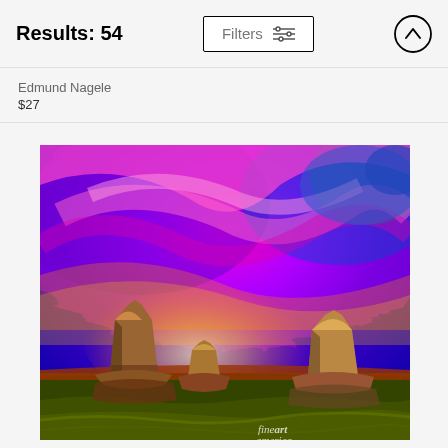Results: 54
Filters
Edmund Nagele
$27
[Figure (illustration): Colorful oil-painting style artwork of Monument Valley buttes under a vivid swirling sky in magenta, purple, blue, and orange. Fine Art America watermark in bottom right corner.]